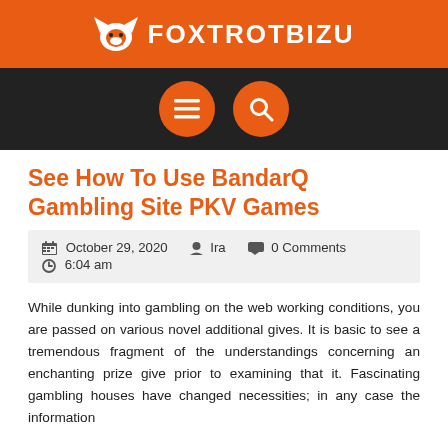FOXTROTBIZU
[Figure (logo): Navigation bar with menu icon (hamburger) and search icon on dark background]
See How To Use BandarQ Gambling Site PKV Games
October 29, 2020   Ira   0 Comments   6:04 am
While dunking into gambling on the web working conditions, you are passed on various novel additional gives. It is basic to see a tremendous fragment of the understandings concerning an enchanting prize give prior to examining that it. Fascinating gambling houses have changed necessities; in any case the information